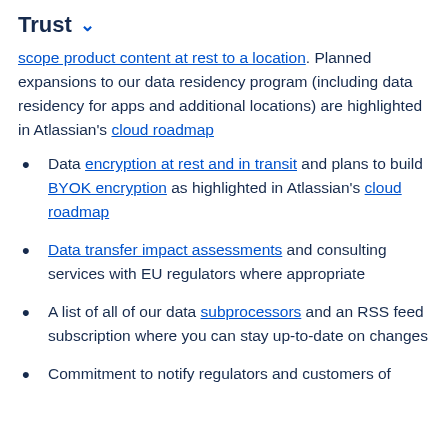Trust
scope product content at rest to a location. Planned expansions to our data residency program (including data residency for apps and additional locations) are highlighted in Atlassian's cloud roadmap
Data encryption at rest and in transit and plans to build BYOK encryption as highlighted in Atlassian's cloud roadmap
Data transfer impact assessments and consulting services with EU regulators where appropriate
A list of all of our data subprocessors and an RSS feed subscription where you can stay up-to-date on changes
Commitment to notify regulators and customers of